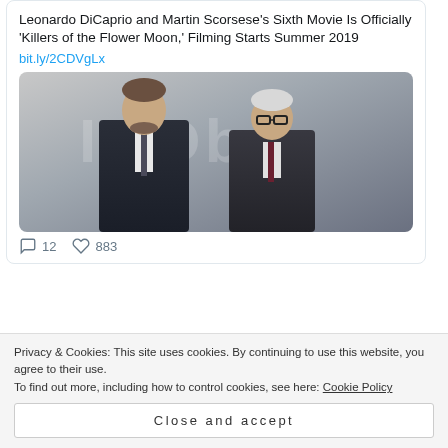Leonardo DiCaprio and Martin Scorsese's Sixth Movie Is Officially 'Killers of the Flower Moon,' Filming Starts Summer 2019
bit.ly/2CDVgLx
[Figure (photo): Photo of two men in suits, likely Leonardo DiCaprio and Martin Scorsese, standing together at a formal event]
12 comments, 883 likes
Privacy & Cookies: This site uses cookies. By continuing to use this website, you agree to their use. To find out more, including how to control cookies, see here: Cookie Policy
Close and accept